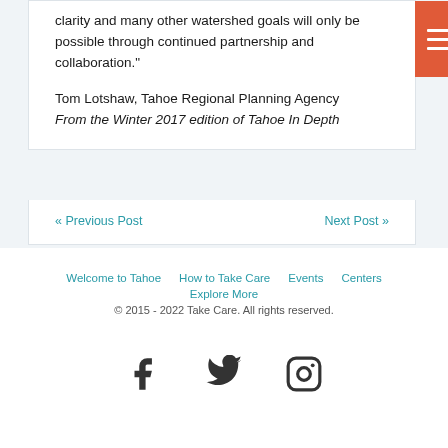clarity and many other watershed goals will only be possible through continued partnership and collaboration."
Tom Lotshaw, Tahoe Regional Planning Agency
From the Winter 2017 edition of Tahoe In Depth
« Previous Post   Next Post »
Welcome to Tahoe  How to Take Care  Events  Centers  Explore More
© 2015 - 2022 Take Care. All rights reserved.